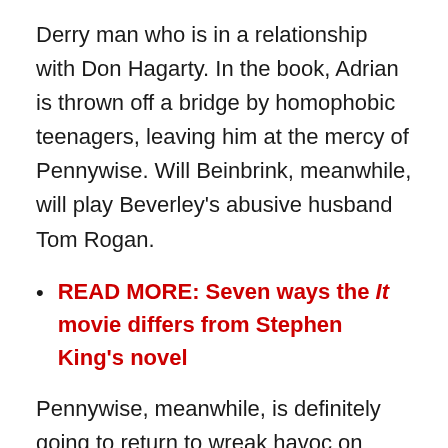Derry man who is in a relationship with Don Hagarty. In the book, Adrian is thrown off a bridge by homophobic teenagers, leaving him at the mercy of Pennywise. Will Beinbrink, meanwhile, will play Beverley’s abusive husband Tom Rogan.
READ MORE: Seven ways the It movie differs from Stephen King’s novel
Pennywise, meanwhile, is definitely going to return to wreak havoc on Derry, Maine once again. Bill Skarsgård, the man who underwent the transformation into the terrifying clown for the first film, has been confirmed to return.